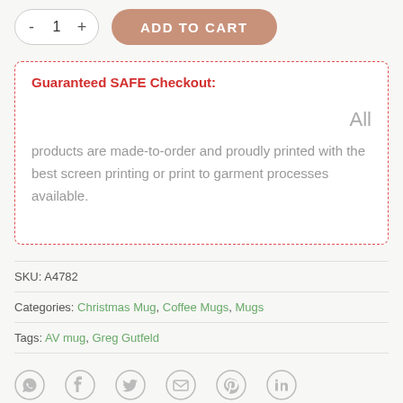[Figure (screenshot): Add to cart UI with quantity selector (- 1 +) and ADD TO CART button in tan/salmon color]
Guaranteed SAFE Checkout:
All products are made-to-order and proudly printed with the best screen printing or print to garment processes available.
SKU: A4782
Categories: Christmas Mug, Coffee Mugs, Mugs
Tags: AV mug, Greg Gutfeld
[Figure (infographic): Social sharing icons: WhatsApp, Facebook, Twitter, Email, Pinterest, LinkedIn]